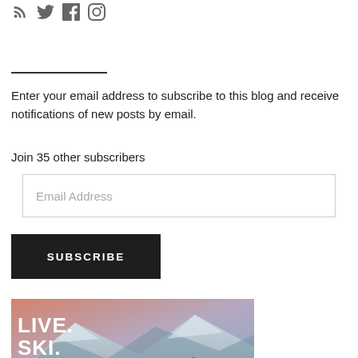[Figure (illustration): Social media icons: RSS feed, Twitter, Facebook, Instagram]
Enter your email address to subscribe to this blog and receive notifications of new posts by email.
Join 35 other subscribers
[Figure (screenshot): Email Address input field]
[Figure (screenshot): SUBSCRIBE button in dark/black background]
[Figure (photo): Ski banner image with text: LIVE. SKI. REPEAT. showing a skier on a snowy mountain at sunset]